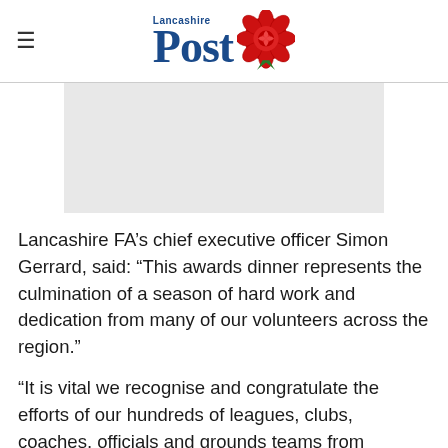Lancashire Post
[Figure (other): Advertisement placeholder — light grey rectangle]
Lancashire FA's chief executive officer Simon Gerrard, said: “This awards dinner represents the culmination of a season of hard work and dedication from many of our volunteers across the region.”
“It is vital we recognise and congratulate the efforts of our hundreds of leagues, clubs, coaches, officials and grounds teams from